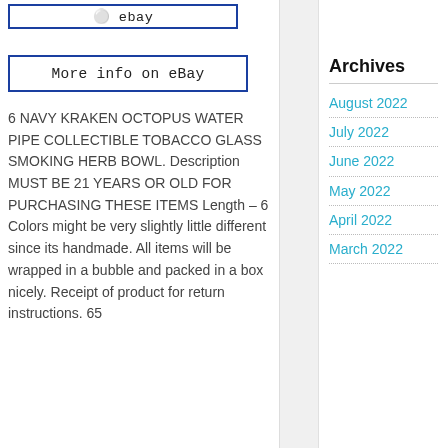[Figure (screenshot): eBay button image - partial, cropped at top]
[Figure (screenshot): More info on eBay button with blue border]
6 NAVY KRAKEN OCTOPUS WATER PIPE COLLECTIBLE TOBACCO GLASS SMOKING HERB BOWL. Description MUST BE 21 YEARS OR OLD FOR PURCHASING THESE ITEMS Length – 6 Colors might be very slightly little different since its handmade. All items will be wrapped in a bubble and packed in a box nicely. Receipt of product for return instructions. 65
Archives
August 2022
July 2022
June 2022
May 2022
April 2022
March 2022